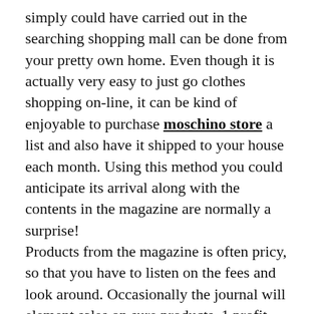simply could have carried out in the searching shopping mall can be done from your pretty own home. Even though it is actually very easy to just go clothes shopping on-line, it can be kind of enjoyable to purchase moschino store a list and also have it shipped to your house each month. Using this method you could anticipate its arrival along with the contents in the magazine are normally a surprise!
Products from the magazine is often pricy, so that you have to listen on the fees and look around. Occasionally the journal will element sales on sure products. 1 profit into a journal more than looking for apparel on the net, is the fact that you could moschino replica choose the journal with you where ever you go, whether or not it's about the bus, within your vehicle, with your office environment, or maybe as part of your rest room. So, chances are you'll look at buying a monthly